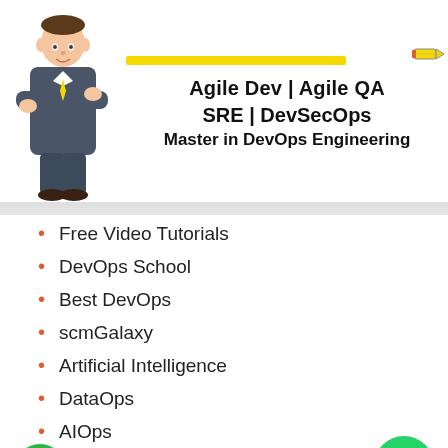[Figure (illustration): Cartoon character of a person in a grey suit with arms crossed, alongside banner text showing course categories with a yellow highlight bar and pencil icon]
Agile Dev | Agile QA
SRE | DevSecOps
Master in DevOps Engineering
Free Video Tutorials
DevOps School
Best DevOps
scmGalaxy
Artificial Intelligence
DataOps
AIOps
GuruKul Galaxy